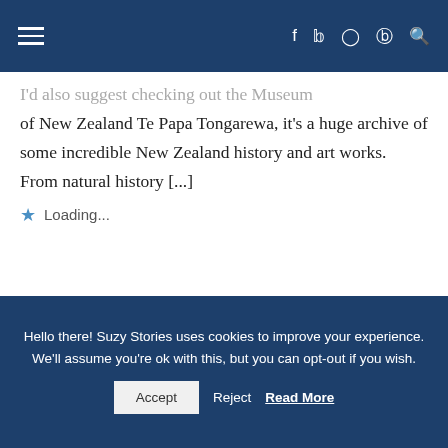≡  f  𝕏  ⊙  ℗  🔍
I'd also suggest checking out the Museum of New Zealand Te Papa Tongarewa, it's a huge archive of some incredible New Zealand history and art works. From natural history [...]
⭐ Loading...
LEAVE A REPLY
Hello there! Suzy Stories uses cookies to improve your experience. We'll assume you're ok with this, but you can opt-out if you wish.  Accept  Reject  Read More